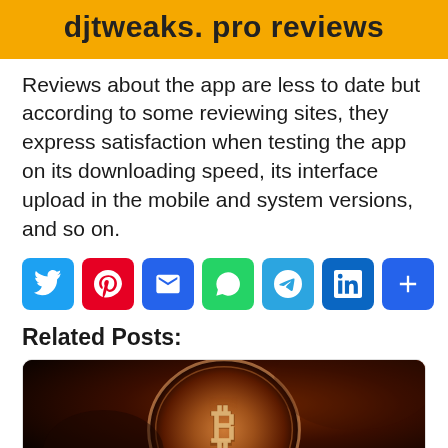djtweaks. pro reviews
Reviews about the app are less to date but according to some reviewing sites, they express satisfaction when testing the app on its downloading speed, its interface upload in the mobile and system versions, and so on.
[Figure (infographic): Social sharing icon buttons: Twitter (blue), Pinterest (red), Email (blue), WhatsApp (green), Telegram (light blue), LinkedIn (dark blue), More/Share (blue)]
Related Posts:
[Figure (photo): A close-up photo of a bronze/copper Bitcoin coin against a dark background with warm reddish-brown tones]